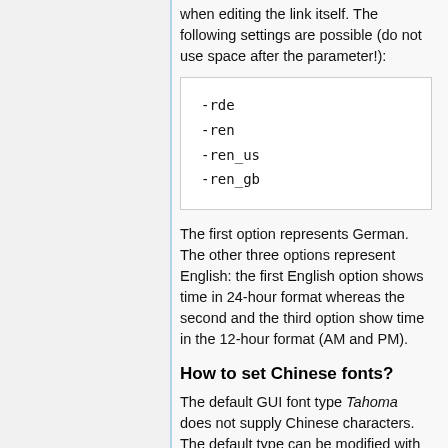when editing the link itself. The following settings are possible (do not use space after the parameter!):
-rde
-ren
-ren_us
-ren_gb
The first option represents German. The other three options represent English: the first English option shows time in 24-hour format whereas the second and the third option show time in the 12-hour format (AM and PM).
How to set Chinese fonts?
The default GUI font type Tahoma does not supply Chinese characters. The default type can be modified with the